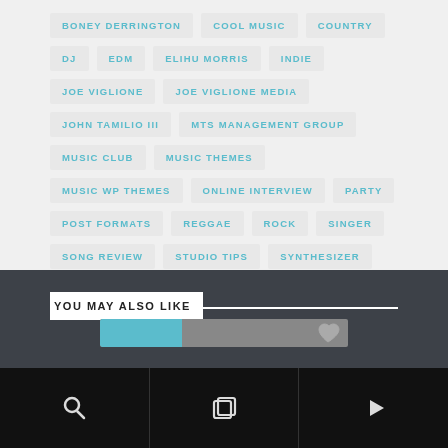BONEY DERRINGTON
COOL MUSIC
COUNTRY
DJ
EDM
ELIHU MORRIS
INDIE
JOE VIGLIONE
JOE VIGLIONE MEDIA
JOHN TAMILIO III
MTS MANAGEMENT GROUP
MUSIC CLUB
MUSIC THEMES
MUSIC WP THEMES
ONLINE INTERVIEW
PARTY
POST FORMATS
REGGAE
ROCK
SINGER
SONG REVIEW
STUDIO TIPS
SYNTHESIZER
VOICE
YOU MAY ALSO LIKE
[Figure (screenshot): Preview bar with teal progress and heart icon]